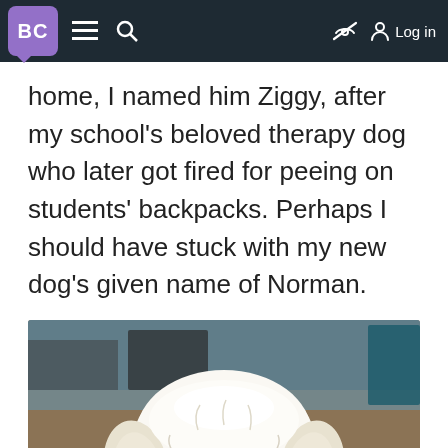BC  ≡  🔍  [no-eye icon]  [person icon] Log in
home, I named him Ziggy, after my school's beloved therapy dog who later got fired for peeing on students' backpacks. Perhaps I should have stuck with my new dog's given name of Norman.
[Figure (photo): Close-up photo of a fluffy white puppy (appears to be a Goldendoodle or similar breed) lying on a colorful striped rug, looking directly at the camera with dark eyes and a black nose. Blurry background shows a hardwood floor and furniture.]